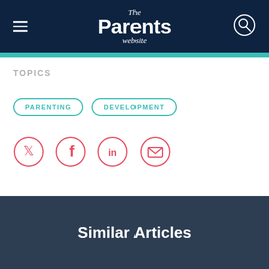The Parents website
TOPICS
PARENTING  DEVELOPMENT
[Figure (other): Social media sharing icons: Twitter, Facebook, LinkedIn, Email]
Similar Articles